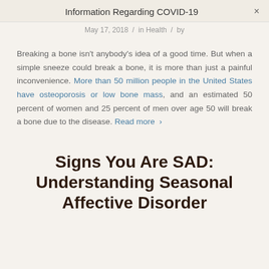Information Regarding COVID-19 ×
May 17, 2018 / in Health / by
Breaking a bone isn't anybody's idea of a good time. But when a simple sneeze could break a bone, it is more than just a painful inconvenience. More than 50 million people in the United States have osteoporosis or low bone mass, and an estimated 50 percent of women and 25 percent of men over age 50 will break a bone due to the disease. Read more ›
Signs You Are SAD: Understanding Seasonal Affective Disorder